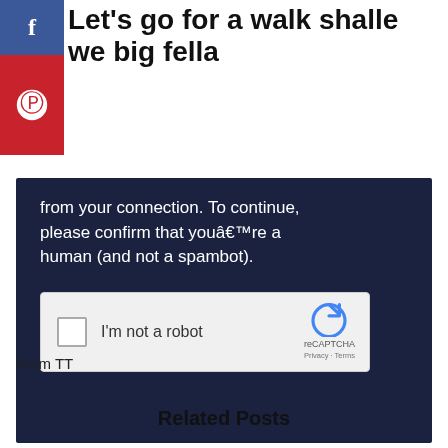[Figure (screenshot): Facebook share button (blue) and Pinterest share button (red) stacked vertically on left side]
Let's go for a walk shalle we big fella
[Figure (screenshot): Dark navy blue screenshot showing a CAPTCHA verification page with text 'from your connection. To continue, please confirm that youâ€™re a human (and not a spambot).' and a reCAPTCHA checkbox widget with 'I'm not a robot' label]
From TT
Related Posts